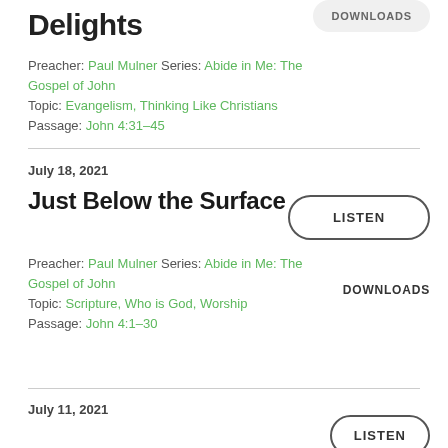Delights
Preacher: Paul Mulner Series: Abide in Me: The Gospel of John
Topic: Evangelism, Thinking Like Christians Passage: John 4:31–45
DOWNLOADS
July 18, 2021
Just Below the Surface
Preacher: Paul Mulner Series: Abide in Me: The Gospel of John
Topic: Scripture, Who is God, Worship
Passage: John 4:1–30
LISTEN
DOWNLOADS
July 11, 2021
LISTEN